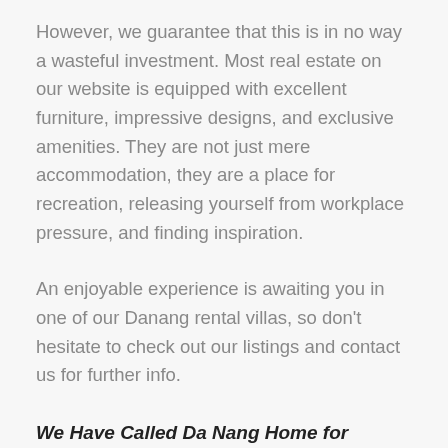However, we guarantee that this is in no way a wasteful investment. Most real estate on our website is equipped with excellent furniture, impressive designs, and exclusive amenities. They are not just mere accommodation, they are a place for recreation, releasing yourself from workplace pressure, and finding inspiration.
An enjoyable experience is awaiting you in one of our Danang rental villas, so don't hesitate to check out our listings and contact us for further info.
We Have Called Da Nang Home for Generations – and we hope you will have the